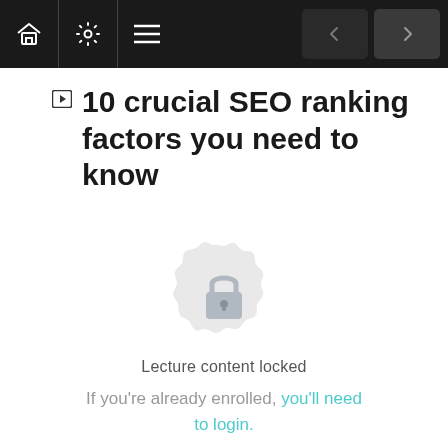Navigation bar with home, settings, menu icons and previous/next navigation arrows
10 crucial SEO ranking factors you need to know
[Figure (illustration): A locked padlock icon centered within a decorative circular badge/seal with a gear-like scalloped edge, in light grey tones indicating locked content]
Lecture content locked
If you're already enrolled, you'll need to login.